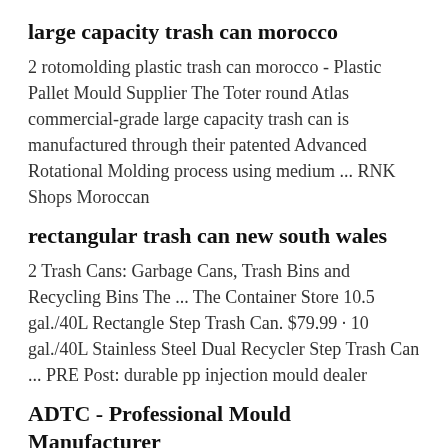large capacity trash can morocco
2 rotomolding plastic trash can morocco - Plastic Pallet Mould Supplier The Toter round Atlas commercial-grade large capacity trash can is manufactured through their patented Advanced Rotational Molding process using medium ... RNK Shops Moroccan
rectangular trash can new south wales
2 Trash Cans: Garbage Cans, Trash Bins and Recycling Bins The ... The Container Store 10.5 gal./40L Rectangle Step Trash Can. $79.99 · 10 gal./40L Stainless Steel Dual Recycler Step Trash Can ... PRE Post: durable pp injection mould dealer
ADTC - Professional Mould Manufacturer
2 Double Injection Products,Electronic and industrial parts,motorcycle mold injection blow molding,Our